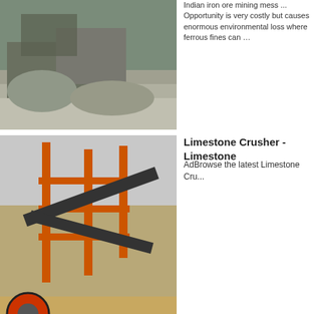[Figure (photo): Mining/crushing site with machinery and gravel pile]
Indian iron ore mining mess ... Opportunity is very costly but causes enormous environmental loss where ferrous fines can ...
[Figure (photo): Industrial limestone crusher equipment with orange metal framework and conveyor belts at a quarry site]
Limestone Crusher - Limestone
AdBrowse the latest Limestone Cru...
Last Article: Small Grinding Mills Sri Lanka
Related articles:
used stationary crusher
preheater for lime calcination
gypsum production line used
how to start a crusher company
Concentrator machine crusher
mini rock crushers 530 tph
[Figure (screenshot): Mini message contact form with text area, email field, phone field, Email Us button, and Send button]